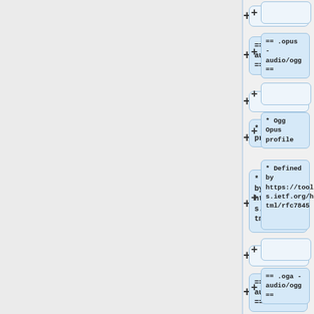[Figure (flowchart): A vertical list of collapsible tree nodes shown in a diff/outline view. Left panel is light gray. Right panel shows alternating empty (collapsed) nodes with plus buttons and content nodes with blue backgrounds. Content includes: empty node, '== .opus - audio/ogg ==', empty node, '* Ogg Opus profile', '* Defined by https://tools.ietf.org/html/rfc7845', empty node, '== .oga - audio/ogg ==', empty node, '* Ogg Audio Profile' (partially visible).]